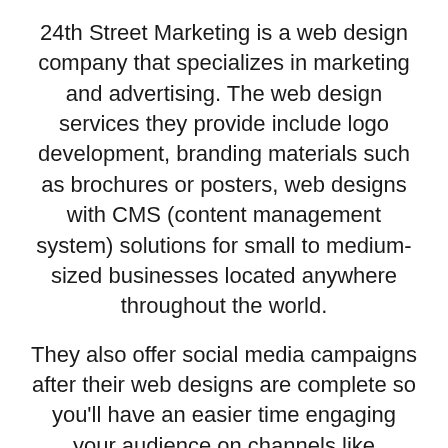24th Street Marketing is a web design company that specializes in marketing and advertising. The web design services they provide include logo development, branding materials such as brochures or posters, web designs with CMS (content management system) solutions for small to medium-sized businesses located anywhere throughout the world.
They also offer social media campaigns after their web designs are complete so you'll have an easier time engaging your audience on channels like Facebook, Twitter, Instagram etcetera.
Blue Dog Design (design and branding for web and print media)